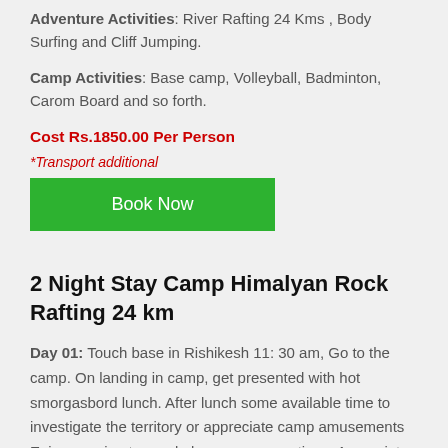Adventure Activities: River Rafting 24 Kms , Body Surfing and Cliff Jumping.
Camp Activities: Base camp, Volleyball, Badminton, Carom Board and so forth.
Cost Rs.1850.00 Per Person
*Transport additional
[Figure (other): Green Book Now button]
2 Night Stay Camp Himalyan Rock Rafting 24 km
Day 01: Touch base in Rishikesh 11: 30 am, Go to the camp. On landing in camp, get presented with hot smorgasbord lunch. After lunch some available time to investigate the territory or appreciate camp amusements Enjoy evening tea and play camp recreations. Appreciate evening blaze with light snacks. Eat.